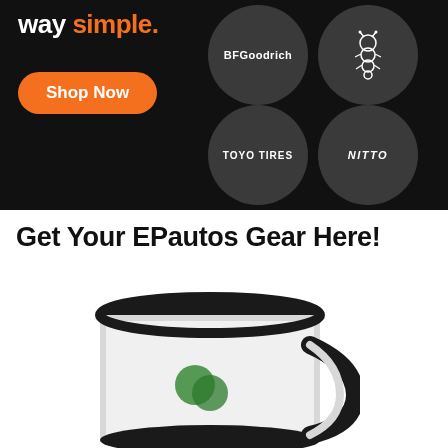[Figure (illustration): Dark banner advertisement showing 'way simple.' text in white/orange, an orange 'Shop Now' button, and four dark circular badges with tire brand logos: BFGoodrich, Michelin (worm/mascot doodle), Toyo Tires, and Nitto]
Get Your EPautos Gear Here!
[Figure (photo): A black coffee mug with a green logo/graphic on the front, photographed on white background, partially cropped at the bottom]